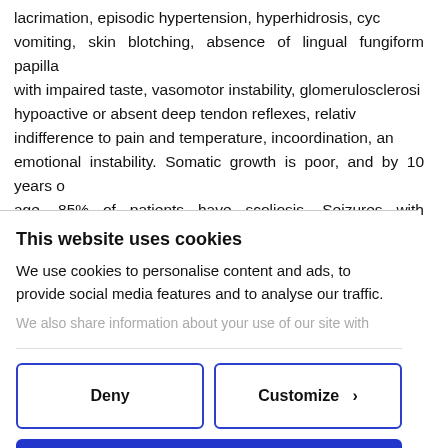lacrimation, episodic hypertension, hyperhidrosis, cyclic vomiting, skin blotching, absence of lingual fungiform papillae with impaired taste, vasomotor instability, glomerulosclerosis, hypoactive or absent deep tendon reflexes, relative indifference to pain and temperature, incoordination, and emotional instability. Somatic growth is poor, and by 10 years of age, 85% of patients have scoliosis. Seizures with decerebrate posturing can follow breath-holding episodes.
This website uses cookies
We use cookies to personalise content and ads, to provide social media features and to analyse our traffic.
We also share information about your use of our site with